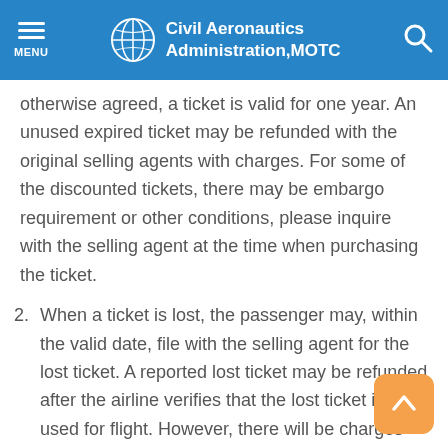Civil Aeronautics Administration, MOTC
otherwise agreed, a ticket is valid for one year. An unused expired ticket may be refunded with the original selling agents with charges. For some of the discounted tickets, there may be embargo requirement or other conditions, please inquire with the selling agent at the time when purchasing the ticket.
2. When a ticket is lost, the passenger may, within the valid date, file with the selling agent for the lost ticket. A reported lost ticket may be refunded after the airline verifies that the lost ticket is not used for flight. However, there will be charges for such process.